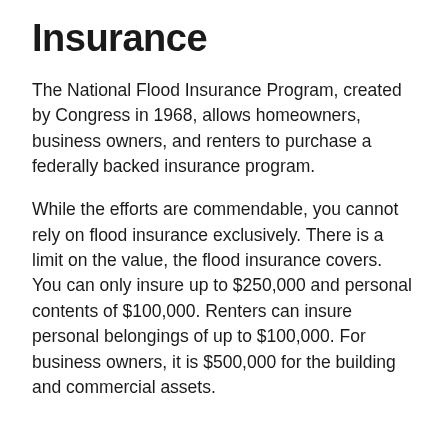Insurance
The National Flood Insurance Program, created by Congress in 1968, allows homeowners, business owners, and renters to purchase a federally backed insurance program.
While the efforts are commendable, you cannot rely on flood insurance exclusively. There is a limit on the value, the flood insurance covers. You can only insure up to $250,000 and personal contents of $100,000. Renters can insure personal belongings of up to $100,000. For business owners, it is $500,000 for the building and commercial assets.